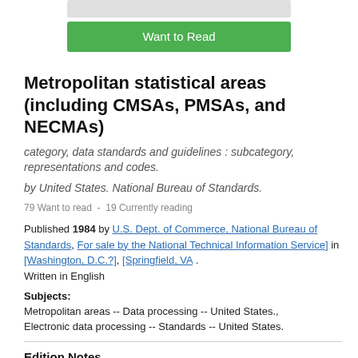[Figure (other): Book cover stub (gray rectangle) partially visible at top]
Want to Read
Metropolitan statistical areas (including CMSAs, PMSAs, and NECMAs)
category, data standards and guidelines : subcategory, representations and codes.
by United States. National Bureau of Standards.
79 Want to read  -  19 Currently reading
Published 1984 by U.S. Dept. of Commerce, National Bureau of Standards, For sale by the National Technical Information Service] in [Washington, D.C.?], [Springfield, VA . Written in English
Subjects: Metropolitan areas -- Data processing -- United States., Electronic data processing -- Standards -- United States.
Edition Notes